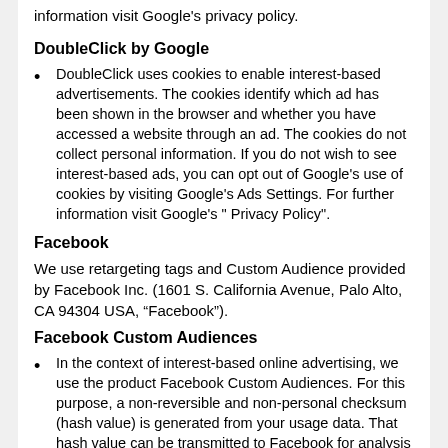information visit Google's privacy policy.
DoubleClick by Google
DoubleClick uses cookies to enable interest-based advertisements. The cookies identify which ad has been shown in the browser and whether you have accessed a website through an ad. The cookies do not collect personal information. If you do not wish to see interest-based ads, you can opt out of Google's use of cookies by visiting Google's Ads Settings. For further information visit Google's " Privacy Policy".
Facebook
We use retargeting tags and Custom Audience provided by Facebook Inc. (1601 S. California Avenue, Palo Alto, CA 94304 USA, “Facebook”).
Facebook Custom Audiences
In the context of interest-based online advertising, we use the product Facebook Custom Audiences. For this purpose, a non-reversible and non-personal checksum (hash value) is generated from your usage data. That hash value can be transmitted to Facebook for analysis and marketing purposes. The collected Information contain your activities on our site (and as principal domain visit, domain category).